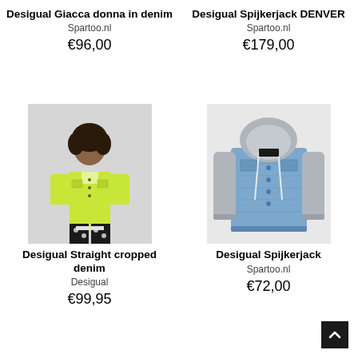Desigual Giacca donna in denim
Spartoo.nl
€96,00
Desigual Spijkerjack DENVER
Spartoo.nl
€179,00
[Figure (photo): Woman wearing a neon yellow-green cropped denim jacket and black floral pants]
[Figure (photo): Denim jacket with grey hoodie sleeves and grey hood]
Desigual Straight cropped denim
Desigual
€99,95
Desigual Spijkerjack
Spartoo.nl
€72,00